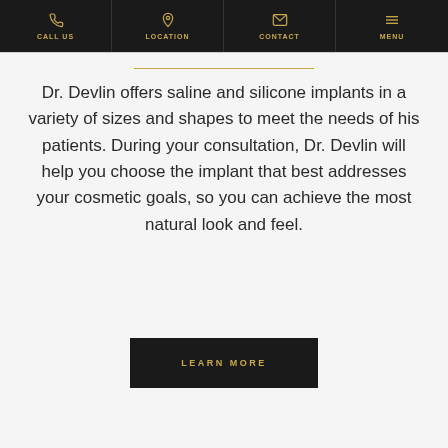CALL US | LOCATION | CONTACT | MENU
Dr. Devlin offers saline and silicone implants in a variety of sizes and shapes to meet the needs of his patients. During your consultation, Dr. Devlin will help you choose the implant that best addresses your cosmetic goals, so you can achieve the most natural look and feel.
LEARN MORE